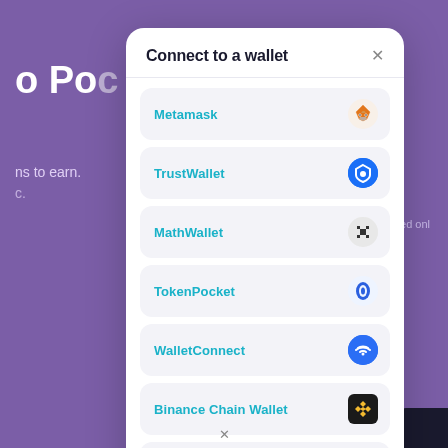[Figure (screenshot): Purple DeFi website background with partial text 'o Po...' and 'ns to earn.' visible behind a wallet connection modal]
Connect to a wallet
Metamask
TrustWallet
MathWallet
TokenPocket
WalletConnect
Binance Chain Wallet
SafePal Wallet
Learn how to connect